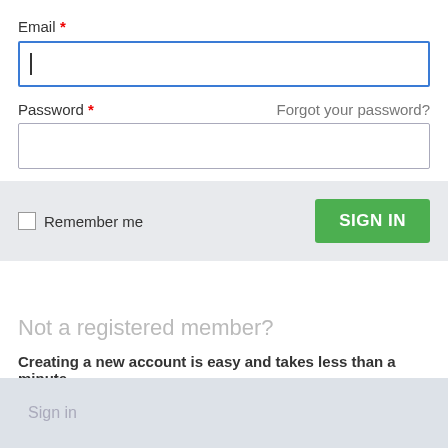Email *
[Figure (screenshot): Email input field (text box with cursor)]
Password *
Forgot your password?
[Figure (screenshot): Password input field (empty text box)]
Remember me
SIGN IN
Not a registered member?
Creating a new account is easy and takes less than a minute.
Register for a new account
Sign in